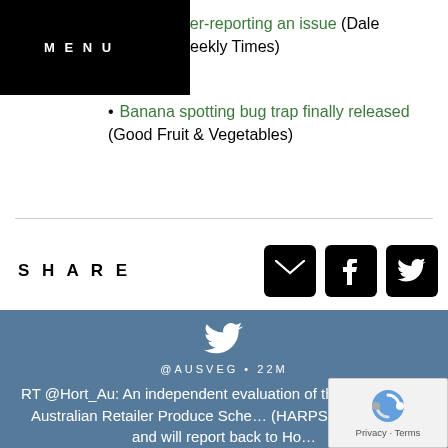... crime under-reporting an issue (Dale Webster, Weekly Times)
Banana spotting bug trap finally released (Good Fruit & Vegetables)
SHARE
@AUSVEG • 22M
RT @Hort_Au: An independent evaluation of the Harmonised Australian Retailer Produce Scheme (HARPS) is underway and will report back to Ho...